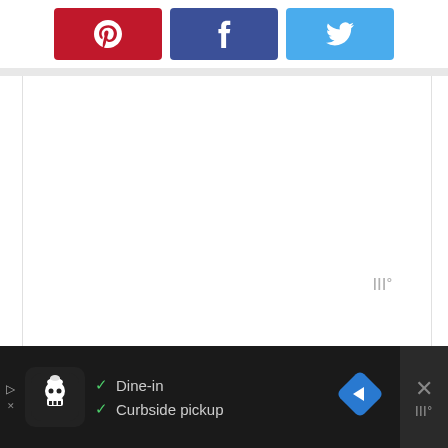[Figure (screenshot): Social share buttons: Pinterest (red), Facebook (dark blue), Twitter (light blue) with respective icons]
[Figure (screenshot): Large white content area with a small watermark logo in the lower right]
[Figure (screenshot): Advertisement bar at the bottom showing app logo, Dine-in and Curbside pickup checkmarks, a blue diamond navigation icon, and a close button]